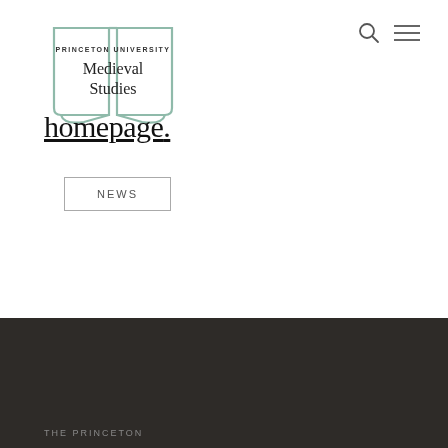[Figure (logo): Princeton University Medieval Studies logo — open book outline in muted green with text 'PRINCETON UNIVERSITY' and 'Medieval Studies' inside]
homepage.
NEWS
THE PRINCETON